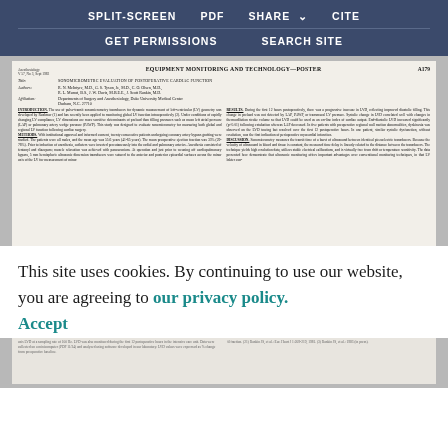SPLIT-SCREEN  PDF  SHARE  CITE  GET PERMISSIONS  SEARCH SITE
[Figure (screenshot): Scanned academic journal page: 'EQUIPMENT MONITORING AND TECHNOLOGY—POSTER A179', title 'SONOMICROMETRC EVALUATION OF POSTOPERATIVE CARDIAC FUNCTION', authors R.N. McIntyre, G.S. Tyson Jr., C.O. Olsen, R.L. Murrat, J.W. Davis, J. Scott Rankin, affiliations Departments of Surgery and Anesthesiology, Duke University Medical Center, Durham N.C. 27710. Two-column body text with INTRODUCTION, METHODS on left and RESULTS, DISCUSSION on right.]
This site uses cookies. By continuing to use our website, you are agreeing to our privacy policy.
Accept